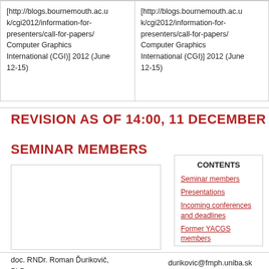| Column1 | Column2 |
| --- | --- |
| [http://blogs.bournemouth.ac.uk/cgi2012/information-for-presenters/call-for-papers/ Computer Graphics International (CGI)] 2012 (June 12-15) | [http://blogs.bournemouth.ac.uk/cgi2012/information-for-presenters/call-for-papers/ Computer Graphics International (CGI)] 2012 (June 12-15) |
REVISION AS OF 14:00, 11 DECEMBER 2012
SEMINAR MEMBERS
| CONTENTS |
| --- |
| Seminar members |
| Presentations |
| Incoming conferences and deadlines |
| Former YACGS members |
doc. RNDr. Roman Ďurikovič, PhD.
durikovic@fmph.uniba.sk